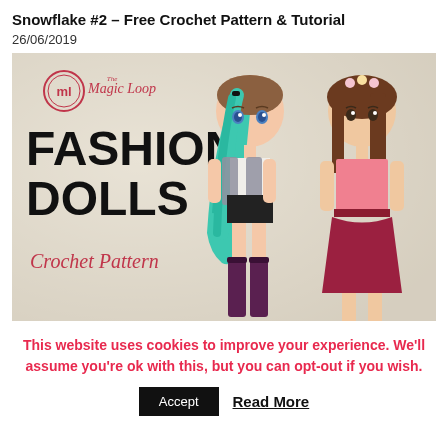Snowflake #2 – Free Crochet Pattern & Tutorial
26/06/2019
[Figure (photo): Photo of two crocheted fashion dolls. The left doll has teal/blue hair, wears a white top, grey/purple cardigan, black shorts, and dark purple knee-high boots. The right doll has brown hair with a flower crown, wears a pink crop top, dark red skirt and belt. Behind them is the 'The Magic Loop Fashion Dolls Crochet Pattern' logo text on a white textured background.]
This website uses cookies to improve your experience. We'll assume you're ok with this, but you can opt-out if you wish.
Accept
Read More